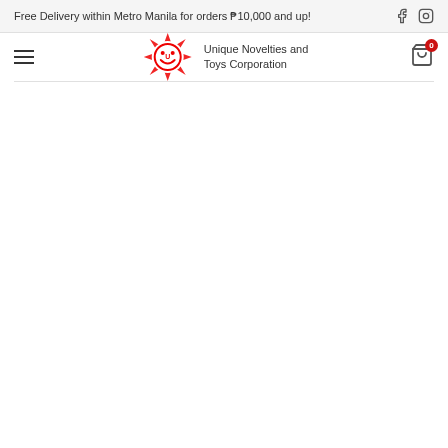Free Delivery within Metro Manila for orders P10,000 and up!
[Figure (logo): Unique Novelties and Toys Corporation logo — red star/sun shape with a smiley face U emblem, beside the company name text]